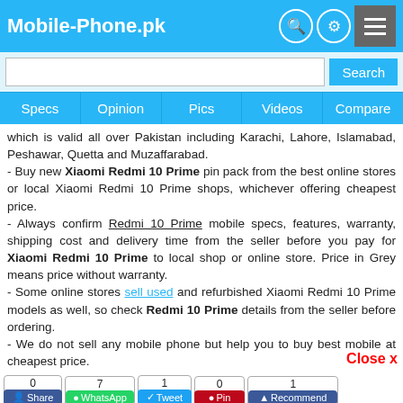Mobile-Phone.pk
which is valid all over Pakistan including Karachi, Lahore, Islamabad, Peshawar, Quetta and Muzaffarabad.
- Buy new Xiaomi Redmi 10 Prime pin pack from the best online stores or local Xiaomi Redmi 10 Prime shops, whichever offering cheapest price.
- Always confirm Redmi 10 Prime mobile specs, features, warranty, shipping cost and delivery time from the seller before you pay for Xiaomi Redmi 10 Prime to local shop or online store. Price in Grey means price without warranty.
- Some online stores sell used and refurbished Xiaomi Redmi 10 Prime models as well, so check Redmi 10 Prime details from the seller before ordering.
- We do not sell any mobile phone but help you to buy best mobile at cheapest price.
Close x
0 Share | 7 WhatsApp | 1 Tweet | 0 Pin | 1 Recommend
Latest Mobiles | Samsung | Huawei | Vivo | Infinix | Honor | Oppo | Realme | Tecno
Xiaomi Redmi 8 Pro    Xiaomi Redmi A1